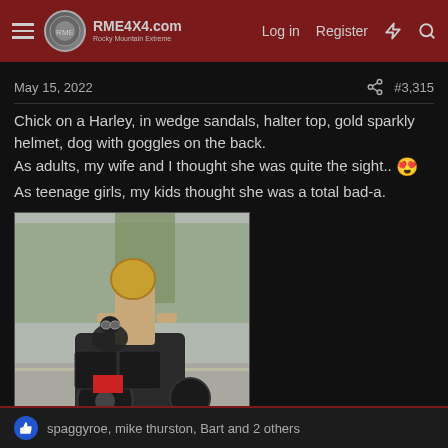RME4X4.com Rocky Mountain Extreme — Log in | Register
May 15, 2022   #3,315
Chick on a Harley, in wedge sandals, halter top, gold sparkly helmet, dog with goggles on the back.
As adults, my wife and I thought she was quite the sight.. 😍
As teenage girls, my kids thought she was a total bad-a.
[Figure (photo): Photo of a woman riding a Harley motorcycle, wearing a gold/tan helmet and halter top, with a dog on the back, taken from behind at an intersection.]
spaggyroe, mike thurston, Bart and 2 others